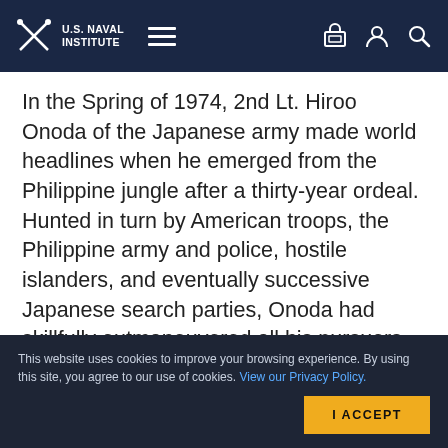U.S. Naval Institute
In the Spring of 1974, 2nd Lt. Hiroo Onoda of the Japanese army made world headlines when he emerged from the Philippine jungle after a thirty-year ordeal. Hunted in turn by American troops, the Philippine army and police, hostile islanders, and eventually successive Japanese search parties, Onoda had skillfully outmaneuvered all his pursuers, convinced that World War II was still …
Available Formats: Softcover
This website uses cookies to improve your browsing experience. By using this site, you agree to our use of cookies. View our Privacy Policy.